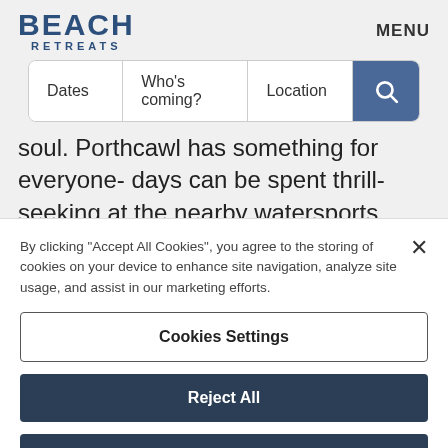BEACH RETREATS
[Figure (screenshot): Search bar with fields: Dates, Who's coming?, Location, and a blue search button]
soul. Porthcawl has something for everyone- days can be spent thrill-seeking at the nearby watersports
By clicking “Accept All Cookies”, you agree to the storing of cookies on your device to enhance site navigation, analyze site usage, and assist in our marketing efforts.
Cookies Settings
Reject All
Accept All Cookies